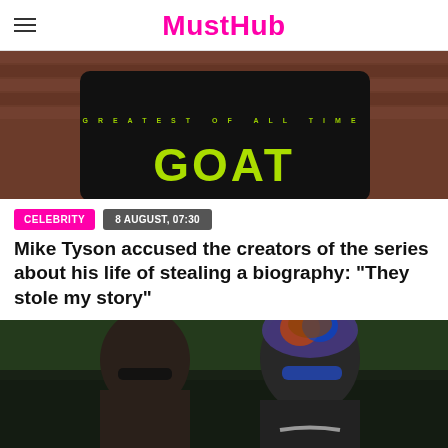MustHub
[Figure (photo): Close-up photo of a large man wearing a black GOAT (Greatest Of All Time) t-shirt with green lettering, standing against a brick wall background. Only the torso is visible.]
CELEBRITY
8 AUGUST, 07:30
Mike Tyson accused the creators of the series about his life of stealing a biography: "They stole my story"
[Figure (photo): Photo of two people: a woman with dark curly hair wearing black sunglasses on the left, and a man with colorful dreadlocks wearing blue mirrored sunglasses and a chain necklace on the right. They are standing outdoors with green foliage in the background.]